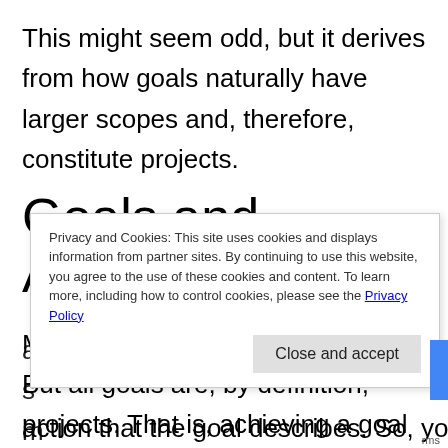This might seem odd, but it derives from how goals naturally have larger scopes and, therefore, constitute projects.
Goals and Actions
Maybe not all projects are goals. But all goals are, by definition, projects. That is, achieving a goal is a result that requires more than one action that the goal describes. So, you ca
Privacy and Cookies: This site uses cookies and displays information from partner sites. By continuing to use this website, you agree to the use of these cookies and content. To learn more, including how to control cookies, please see the Privacy Policy
Close and accept